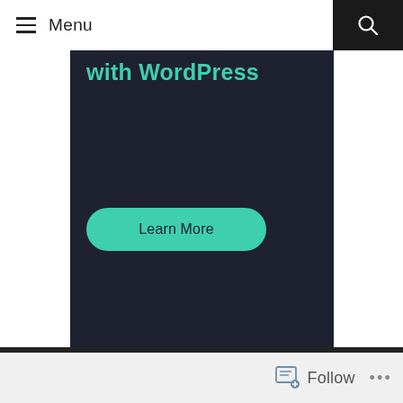≡ Menu
[Figure (screenshot): WordPress.com advertisement banner with dark background (#1e2130), teal text 'with WordPress' partially visible at top, a teal rounded 'Learn More' button, and 'Powered by WordPress.com' branding at bottom.]
REPORT THIS AD
Follow ...